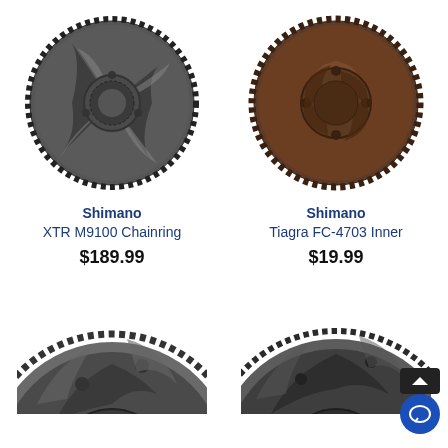[Figure (photo): Shimano XTR M9100 Chainring - dark gray/black bicycle chainring with 4-spoke design and inner spline mount]
Shimano
XTR M9100 Chainring
$189.99
[Figure (photo): Shimano Tiagra FC-4703 Inner chainring - brown/dark red bicycle chainring with 4-bolt pattern]
Shimano
Tiagra FC-4703 Inner
$19.99
[Figure (photo): Bicycle chainring - dark gray/black, partially visible, bottom-left product]
[Figure (photo): Bicycle chainring - dark gray/black, partially visible, bottom-right product]